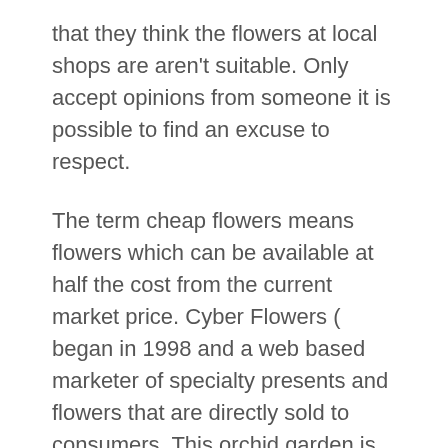that they think the flowers at local shops are aren't suitable. Only accept opinions from someone it is possible to find an excuse to respect.
The term cheap flowers means flowers which can be available at half the cost from the current market price. Cyber Flowers ( began in 1998 and a web based marketer of specialty presents and flowers that are directly sold to consumers. This orchid garden is one of the most famous in Southeast Asia being capable to house about 1000 species of orchids. Sourced from your finest suppliers across the country, they're groomed with fastidious